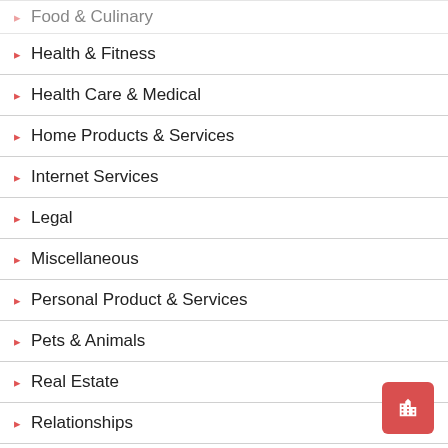Food & Culinary
Health & Fitness
Health Care & Medical
Home Products & Services
Internet Services
Legal
Miscellaneous
Personal Product & Services
Pets & Animals
Real Estate
Relationships
Software
Sports & Athletics